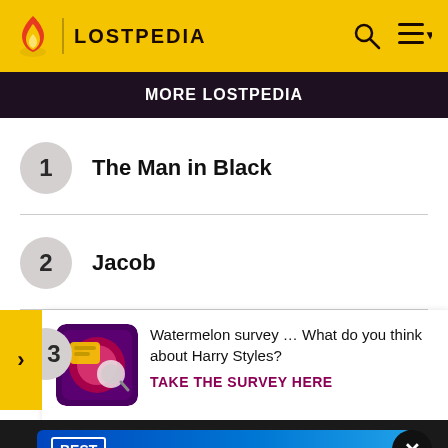LOSTPEDIA
MORE LOSTPEDIA
1 The Man in Black
2 Jacob
[Figure (screenshot): Watermelon survey ad: image of survey graphic with text 'Watermelon survey … What do you think about Harry Styles? TAKE THE SURVEY HERE']
[Figure (screenshot): Best Buy advertisement banner: 'Experience amazing.']